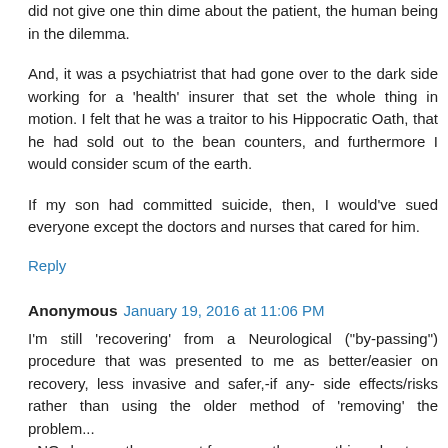did not give one thin dime about the patient, the human being in the dilemma.
And, it was a psychiatrist that had gone over to the dark side working for a 'health' insurer that set the whole thing in motion. I felt that he was a traitor to his Hippocratic Oath, that he had sold out to the bean counters, and furthermore I would consider scum of the earth.
If my son had committed suicide, then, I would've sued everyone except the doctors and nurses that cared for him.
Reply
Anonymous January 19, 2016 at 11:06 PM
I'm still 'recovering' from a Neurological ("by-passing") procedure that was presented to me as better/easier on recovery, less invasive and safer,-if any- side effects/risks rather than using the older method of 'removing' the problem...
- NOwhere on the consent form was there anything about